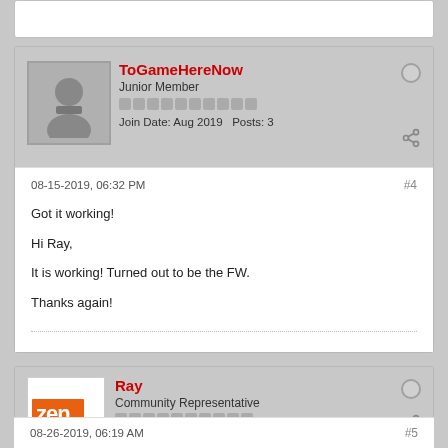ToGameHereNow
Junior Member
Join Date: Aug 2019   Posts: 3
08-15-2019, 06:32 PM
#4
Got it working!

Hi Ray,

It is working! Turned out to be the FW.

Thanks again!
Ray
Community Representative
Join Date: Jun 2019   Posts: 36
08-26-2019, 06:19 AM
#5